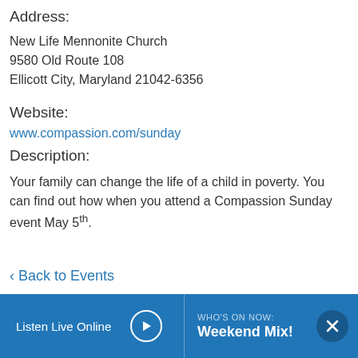Address:
New Life Mennonite Church
9580 Old Route 108
Ellicott City, Maryland 21042-6356
Website:
www.compassion.com/sunday
Description:
Your family can change the life of a child in poverty. You can find out how when you attend a Compassion Sunday event May 5th.
‹ Back to Events
Listen Live Online | WHO'S ON NOW: Weekend Mix!